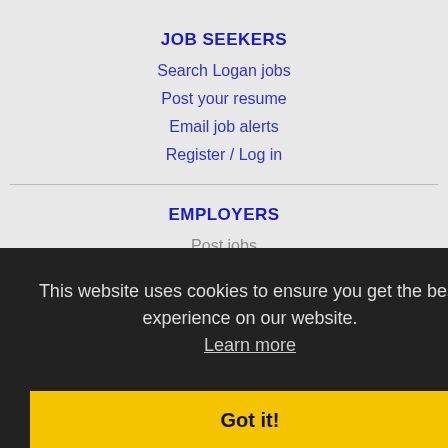JOB SEEKERS
Search Logan jobs
Post your resume
Email job alerts
Register / Log in
EMPLOYERS
Post jobs
Search resumes
Advertise
IMMIGRATION SPECIALISTS
Post jobs
This website uses cookies to ensure you get the best experience on our website. Learn more
Got it!